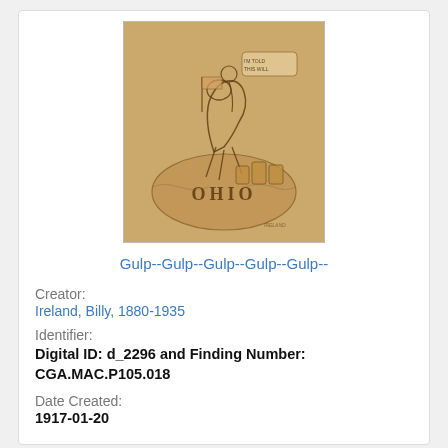[Figure (illustration): Sepia-toned political cartoon sketch showing a figure on a rearing animal over an outline of Ohio, with text 'OHIO' visible.]
Gulp--Gulp--Gulp--Gulp--Gulp--
Creator:
Ireland, Billy, 1880-1935
Identifier:
Digital ID: d_2296 and Finding Number: CGA.MAC.P105.018
Date Created:
1917-01-20
[Figure (illustration): Partial view of a second sepia-toned cartoon at the bottom of the page.]